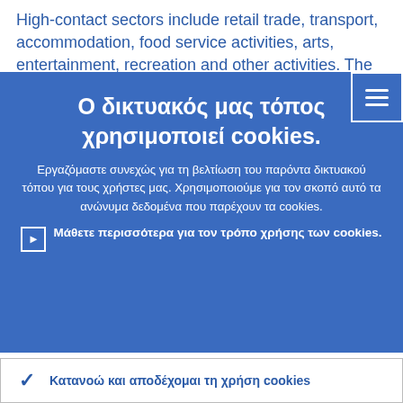High-contact sectors include retail trade, transport, accommodation, food service activities, arts, entertainment, recreation and other activities. The high-contact sectors'
[Figure (screenshot): Cookie consent overlay in Greek on a blue background with title 'Ο δικτυακός μας τόπος χρησιμοποιεί cookies.' and descriptive text, plus a link to learn more about cookie usage.]
Κατανοώ και αποδέχομαι τη χρήση cookies
Δεν αποδέχομαι τη χρήση cookies